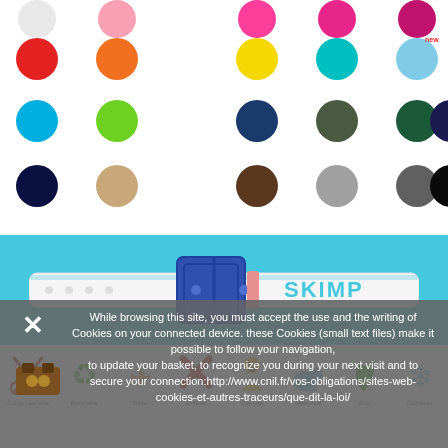[Figure (illustration): Grid of color swatches (circles) in various colors: red, orange, yellow, teal, light blue, mint, cyan, green, navy, olive, dark green, navy dark, dark navy, tan, brown, gray, dark gray, black]
[Figure (photo): A white belt with blue buckle and pink keeper on a cyan/turquoise background, with 'SKIMP' text on the belt]
[Figure (illustration): Row of product feature icons: scissors (cut to your size), recycle symbol (recyclable), airplane (travel), X mark (no holes), person (one size), bubbles (waterproof), leaves (eco), snowflake (cold resistant), with labels below each]
While browsing this site, you must accept the use and the writing of Cookies on your connected device. these Cookies (small text files) make it possible to follow your navigation, to update your basket, to recognize you during your next visit and to secure your connection:http://www.cnil.fr/vos-obligations/sites-web-cookies-et-autres-traceurs/que-dit-la-loi/